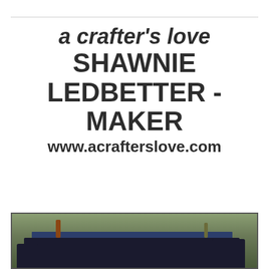a crafter's love SHAWNIE LEDBETTER - MAKER www.acrafterslove.com
[Figure (photo): Outdoor table setting with dark navy tablecloth and chairs on grass, with decorative elements including flowers and place settings]